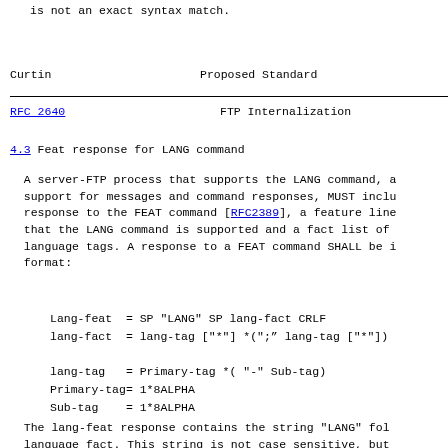is not an exact syntax match.
Curtin                        Proposed Standard
RFC 2640                    FTP Internalization
4.3 Feat response for LANG command
A server-FTP process that supports the LANG command, a support for messages and command responses, MUST inclu response to the FEAT command [RFC2389], a feature line that the LANG command is supported and a fact list of language tags. A response to a FEAT command SHALL be i format:
Lang-feat  = SP "LANG" SP lang-fact CRLF
lang-fact  = lang-tag ["*"] *(";” lang-tag ["*"])
lang-tag   = Primary-tag *( "-" Sub-tag)
Primary-tag= 1*8ALPHA
Sub-tag    = 1*8ALPHA
The lang-feat response contains the string "LANG" fol language fact. This string is not case sensitive, but